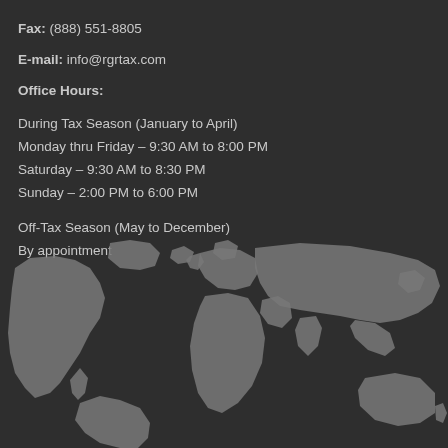Fax: (888) 551-8805
E-mail: info@rgrtax.com
Office Hours:
During Tax Season (January to April)
Monday thru Friday – 9:30 AM to 8:00 PM
Saturday – 9:30 AM to 8:30 PM
Sunday – 2:00 PM to 6:00 PM
Off-Tax Season (May to December)
By appointment
[Figure (map): World map silhouette in dark gray on darker background, showing continents as flat gray shapes]